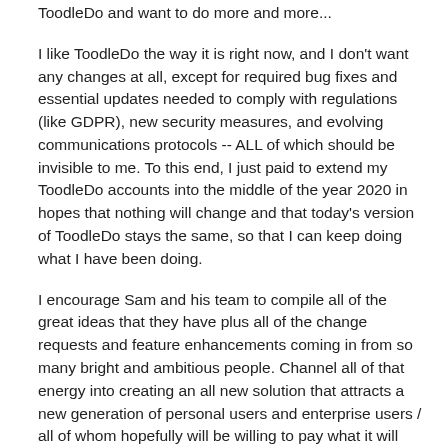ToodleDo and want to do more and more...
I like ToodleDo the way it is right now, and I don't want any changes at all, except for required bug fixes and essential updates needed to comply with regulations (like GDPR), new security measures, and evolving communications protocols -- ALL of which should be invisible to me. To this end, I just paid to extend my ToodleDo accounts into the middle of the year 2020 in hopes that nothing will change and that today's version of ToodleDo stays the same, so that I can keep doing what I have been doing.
I encourage Sam and his team to compile all of the great ideas that they have plus all of the change requests and feature enhancements coming in from so many bright and ambitious people. Channel all of that energy into creating an all new solution that attracts a new generation of personal users and enterprise users / all of whom hopefully will be willing to pay what it will take to fund the desired new developments.
Maybe the new platform should have a completely different name? (Insert name here) "from the company that brought you ToodleDo."
But I really hope that today's ToodleDo (Classic) does not get destroyed in the process of trying to jam in too many new features and making too many changes in an effort to grow the customer base and increase profits. That strategy has...